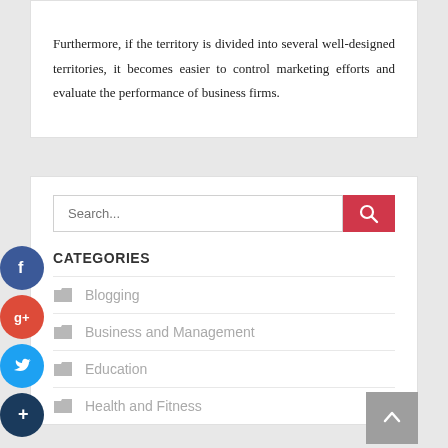Furthermore, if the territory is divided into several well-designed territories, it becomes easier to control marketing efforts and evaluate the performance of business firms.
CATEGORIES
Blogging
Business and Management
Education
Health and Fitness